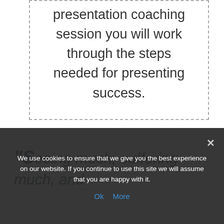presentation coaching session you will work through the steps needed for presenting success.
"Seeing much, suffering much, and studying much, are the three pillars of
We use cookies to ensure that we give you the best experience on our website. If you continue to use this site we will assume that you are happy with it.